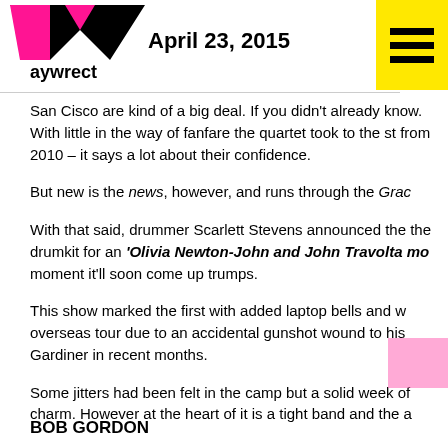April 23, 2015
San Cisco are kind of a big deal. If you didn't already know. With little in the way of fanfare the quartet took to the st from 2010 – it says a lot about their confidence.
But new is the news, however, and runs through the Grac
With that said, drummer Scarlett Stevens announced the the drumkit for an 'Olivia Newton-John and John Travolta mo moment it'll soon come up trumps.
This show marked the first with added laptop bells and w overseas tour due to an accidental gunshot wound to his Gardiner in recent months.
Some jitters had been felt in the camp but a solid week of charm. However at the heart of it is a tight band and the a
BOB GORDON